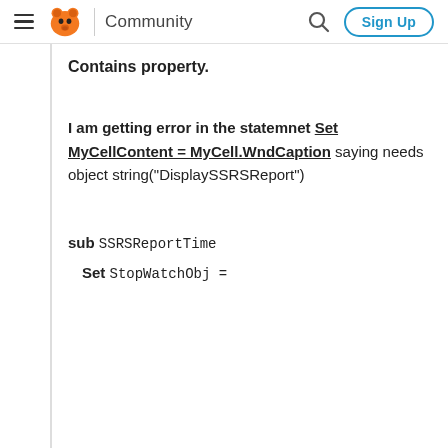Community | Sign Up
Contains property.
I am getting error in the statemnet Set MyCellContent = MyCell.WndCaption saying needs object string("DisplaySSRSReport")
sub SSRSReportTime
    Set StopWatchObj =